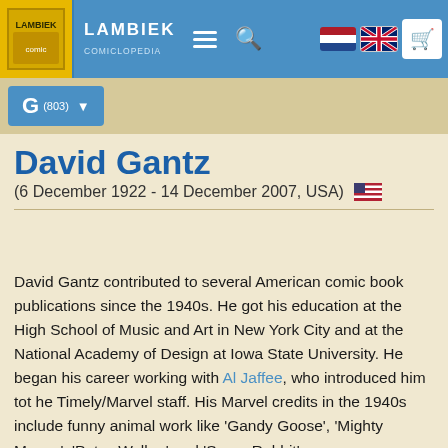LAMBIEK COMICLOPEDIA
David Gantz
(6 December 1922 - 14 December 2007, USA)
David Gantz contributed to several American comic book publications since the 1940s. He got his education at the High School of Music and Art in New York City and at the National Academy of Design at Iowa State University. He began his career working with Al Jaffee, who introduced him tot he Timely/Marvel staff. His Marvel credits in the 1940s include funny animal work like 'Gandy Goose', 'Mighty Mouse', 'Patsy Walker' and 'Super Rabbit'.